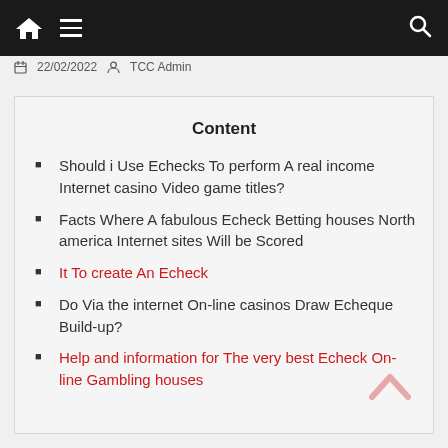22/02/2022 | TCC Admin
Content
Should i Use Echecks To perform A real income Internet casino Video game titles?
Facts Where A fabulous Echeck Betting houses North america Internet sites Will be Scored
It To create An Echeck
Do Via the internet On-line casinos Draw Echeque Build-up?
Help and information for The very best Echeck On-line Gambling houses